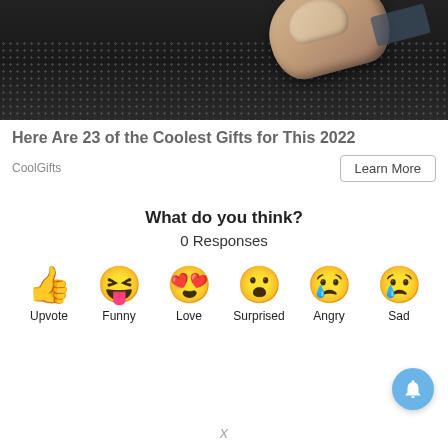[Figure (photo): Close-up photo of a finger touching a dark textured surface, resembling a wallet or card.]
Here Are 23 of the Coolest Gifts for This 2022
CoolGifts
Learn More
What do you think?
0 Responses
[Figure (infographic): Six emoji reaction buttons: Upvote (thumbs up), Funny (squinting face with tongue), Love (heart eyes), Surprised (wow face), Angry (crying face), Sad (sad face with tear)]